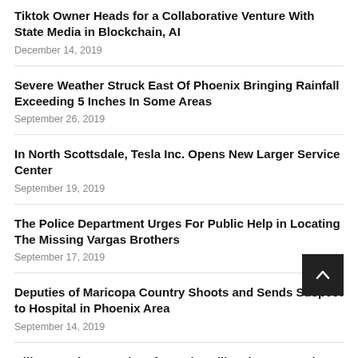Tiktok Owner Heads for a Collaborative Venture With State Media in Blockchain, AI
December 14, 2019
Severe Weather Struck East Of Phoenix Bringing Rainfall Exceeding 5 Inches In Some Areas
September 26, 2019
In North Scottsdale, Tesla Inc. Opens New Larger Service Center
September 19, 2019
The Police Department Urges For Public Help in Locating The Missing Vargas Brothers
September 17, 2019
Deputies of Maricopa Country Shoots and Sends Suspect to Hospital in Phoenix Area
September 14, 2019
Bill Tracy, the Founder of Popular Bill's Pizza Passed Away at